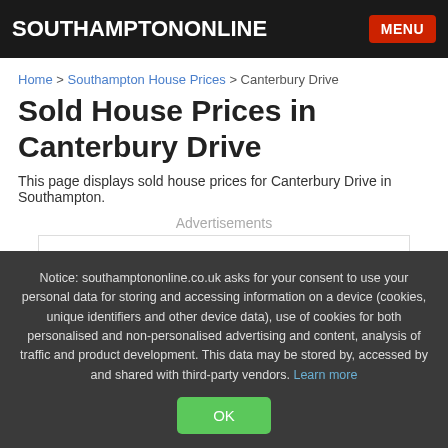SOUTHAMPTONONLINE | MENU
Home > Southampton House Prices > Canterbury Drive
Sold House Prices in Canterbury Drive
This page displays sold house prices for Canterbury Drive in Southampton.
Advertisements
[Figure (other): Empty advertisement box placeholder]
Notice: southamptononline.co.uk asks for your consent to use your personal data for storing and accessing information on a device (cookies, unique identifiers and other device data), use of cookies for both personalised and non-personalised advertising and content, analysis of traffic and product development. This data may be stored by, accessed by and shared with third-party vendors. Learn more
OK